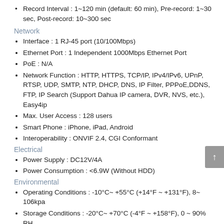Record Interval : 1~120 min (default: 60 min), Pre-record: 1~30 sec, Post-record: 10~300 sec
Network
Interface : 1 RJ-45 port (10/100Mbps)
Ethernet Port : 1 Independent 1000Mbps Ethernet Port
PoE : N/A
Network Function : HTTP, HTTPS, TCP/IP, IPv4/IPv6, UPnP, RTSP, UDP, SMTP, NTP, DHCP, DNS, IP Filter, PPPoE,DDNS, FTP, IP Search (Support Dahua IP camera, DVR, NVS, etc.), Easy4ip
Max. User Access : 128 users
Smart Phone : iPhone, iPad, Android
Interoperability : ONVIF 2.4, CGI Conformant
Electrical
Power Supply : DC12V/4A
Power Consumption : <6.9W (Without HDD)
Environmental
Operating Conditions : -10°C~ +55°C (+14°F ~ +131°F), 8~ 106kpa
Storage Conditions : -20°C~ +70°C (-4°F ~ +158°F), 0 ~ 90% RH